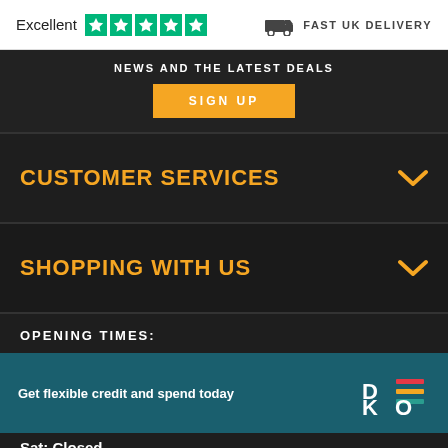[Figure (logo): Trustpilot Excellent rating with 5 green stars]
FAST UK DELIVERY
NEWS AND THE LATEST DEALS
SIGN UP
CUSTOMER SERVICES
SHOPPING WITH US
OPENING TIMES:
Get flexible credit and spend today
[Figure (logo): DEKO logo with colorful horizontal lines]
Sat: Closed